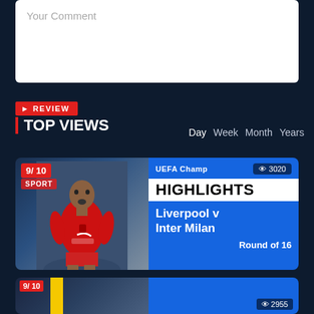[Figure (screenshot): Comment input box with placeholder text 'Your Comment']
Your Comment
REVIEW
TOP VIEWS
Day  Week  Month  Years
[Figure (screenshot): Video thumbnail card showing Liverpool FC player in red jersey, UEFA Champions League Highlights card with rating 9/10, 3020 views, title 'HIGHLIGHTS', match 'Liverpool v Inter Milan', subtitle 'Round of 16']
[Figure (screenshot): Second video thumbnail card showing rating 9/10 and 2955 views, partially visible at bottom]